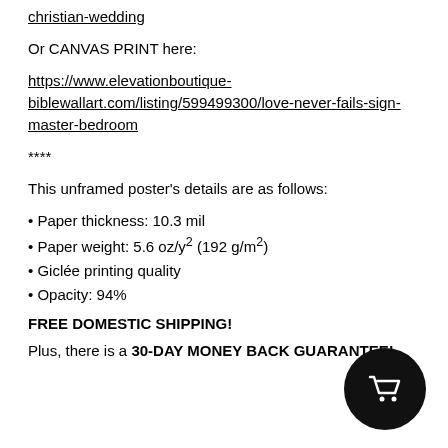christian-wedding
Or CANVAS PRINT here:
https://www.elevationboutique-biblewallart.com/listing/599499300/love-never-fails-sign-master-bedroom
****
This unframed poster's details are as follows:
Paper thickness: 10.3 mil
Paper weight: 5.6 oz/y² (192 g/m²)
Giclée printing quality
Opacity: 94%
FREE DOMESTIC SHIPPING!
Plus, there is a 30-DAY MONEY BACK GUARANTEE!
[Figure (illustration): Shopping cart button icon, dark circle with white cart symbol]